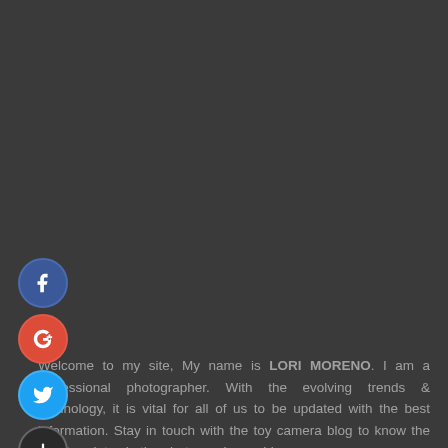[Figure (illustration): Four social media icon circles stacked vertically on the left side: Facebook (blue), Google+ (red), Twitter (light blue), and an Add/Plus button (dark)]
Welcome to my site, My name is LORI MORENO. I am a professional photographer. With the evolving trends & technology, it is vital for all of us to be updated with the best information. Stay in touch with the toy camera blog to know the latest updates in the photography world.